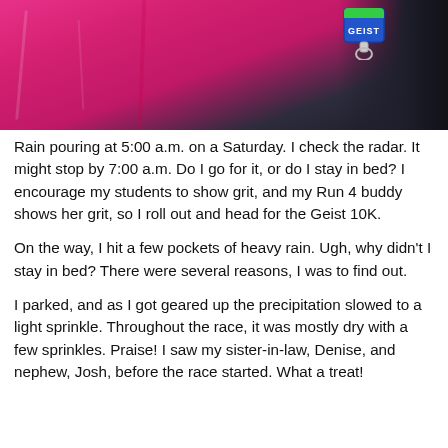[Figure (photo): Close-up photo of a person wearing a bright pink/magenta athletic shirt, with a green and blue Geist race medal/tag visible on the right side.]
Rain pouring at 5:00 a.m. on a Saturday. I check the radar. It might stop by 7:00 a.m. Do I go for it, or do I stay in bed? I encourage my students to show grit, and my Run 4 buddy shows her grit, so I roll out and head for the Geist 10K.
On the way, I hit a few pockets of heavy rain. Ugh, why didn't I stay in bed? There were several reasons, I was to find out.
I parked, and as I got geared up the precipitation slowed to a light sprinkle. Throughout the race, it was mostly dry with a few sprinkles. Praise! I saw my sister-in-law, Denise, and nephew, Josh, before the race started. What a treat!